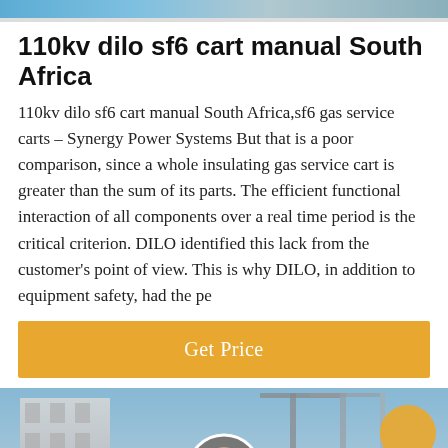[Figure (photo): Top banner image, partial view of industrial/engineering scene]
110kv dilo sf6 cart manual South Africa
110kv dilo sf6 cart manual South Africa,sf6 gas service carts – Synergy Power Systems But that is a poor comparison, since a whole insulating gas service cart is greater than the sum of its parts. The efficient functional interaction of all components over a real time period is the critical criterion. DILO identified this lack from the customer's point of view. This is why DILO, in addition to equipment safety, had the pe
[Figure (other): Get Price button — amber/orange background with white text]
[Figure (photo): Bottom image showing industrial/engineering scene with cranes and equipment; dark overlay bar at bottom with Leave Message and Chat Online labels and customer service avatar]
Leave Message
Chat Online